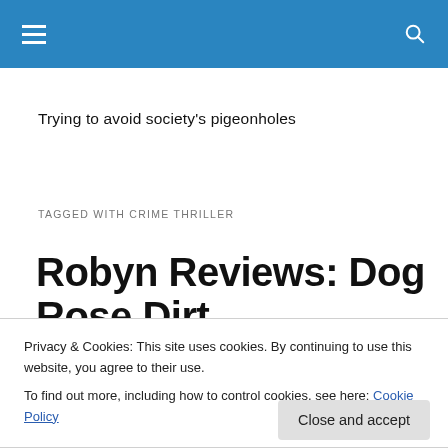Navigation bar with hamburger menu and search icon
Trying to avoid society's pigeonholes
TAGGED WITH CRIME THRILLER
Robyn Reviews: Dog Rose Dirt
[Figure (photo): Book cover of Dog Rose Dirt showing dark background with leaves and pink text at bottom reading ROSE]
Privacy & Cookies: This site uses cookies. By continuing to use this website, you agree to their use.
To find out more, including how to control cookies, see here: Cookie Policy
Close and accept